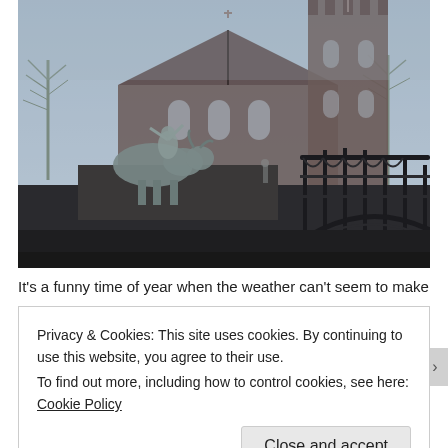[Figure (photo): A misty winter scene showing a Gothic-style church or cathedral in the background with bare trees, and in the foreground a bronze or stone sculpture of a bull and human figure on a pediment or wall, with an ornate black iron bridge railing to the right.]
It's a funny time of year when the weather can't seem to make
Privacy & Cookies: This site uses cookies. By continuing to use this website, you agree to their use.
To find out more, including how to control cookies, see here: Cookie Policy
Close and accept